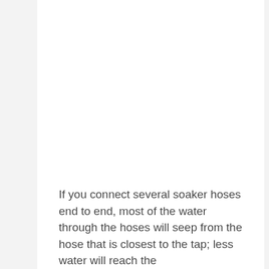If you connect several soaker hoses end to end, most of the water through the hoses will seep from the hose that is closest to the tap; less water will reach the